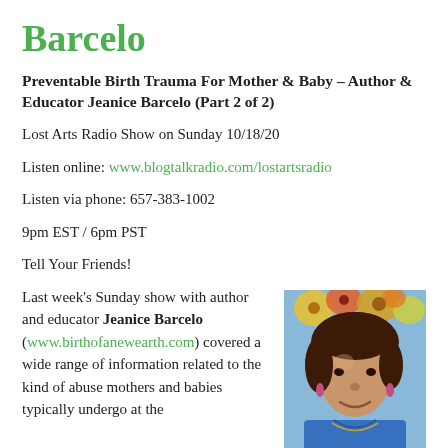Barcelo
Preventable Birth Trauma For Mother & Baby – Author & Educator Jeanice Barcelo (Part 2 of 2)
Lost Arts Radio Show on Sunday 10/18/20
Listen online: www.blogtalkradio.com/lostartsradio
Listen via phone: 657-383-1002
9pm EST / 6pm PST
Tell Your Friends!
Last week's Sunday show with author and educator Jeanice Barcelo (www.birthofanewearth.com) covered a wide range of information related to the kind of abuse mothers and babies typically undergo at the
[Figure (photo): Portrait photo of Jeanice Barcelo, a woman with dark curly hair, wearing a blue top, with colorful flowers in the background]